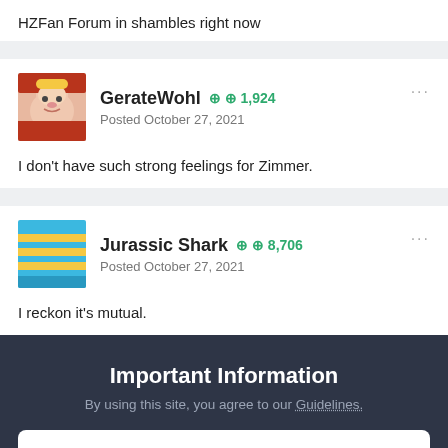HZFan Forum in shambles right now
GerateWohl ⊕1,924 Posted October 27, 2021
I don't have such strong feelings for Zimmer.
Jurassic Shark ⊕8,706 Posted October 27, 2021
I reckon it's mutual.
Important Information
By using this site, you agree to our Guidelines.
✔ I accept